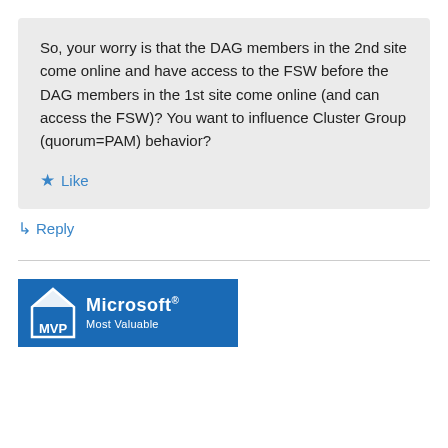So, your worry is that the DAG members in the 2nd site come online and have access to the FSW before the DAG members in the 1st site come online (and can access the FSW)? You want to influence Cluster Group (quorum=PAM) behavior?
Like
Reply
[Figure (logo): Microsoft MVP logo — blue background with white roof/house icon on left, 'Microsoft®' in bold white text and subtitle text below on right]